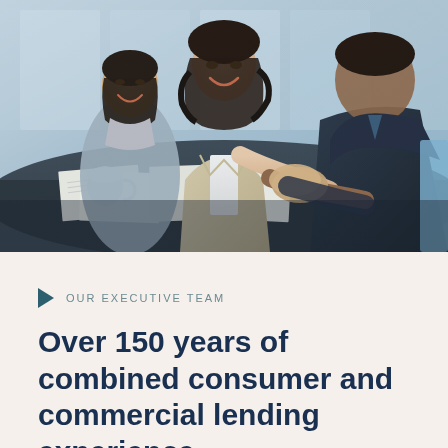[Figure (photo): Business meeting photo showing three professionals: a woman with dark curly hair in a beige blazer standing and shaking hands across a conference table, a woman with short dark hair seated and smiling, and a man in a dark suit seen from behind on the right. Documents and a coffee mug are visible on the table. Office background with glass walls.]
OUR EXECUTIVE TEAM
Over 150 years of combined consumer and commercial lending experience